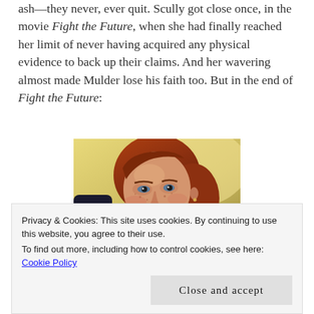ash—they never, ever quit. Scully got close once, in the movie Fight the Future, when she had finally reached her limit of never having acquired any physical evidence to back up their claims. And her wavering almost made Mulder lose his faith too. But in the end of Fight the Future:
[Figure (photo): Close-up photo of a red-haired woman (Scully character) looking upward with an emotional expression, warm yellowish background]
Privacy & Cookies: This site uses cookies. By continuing to use this website, you agree to their use. To find out more, including how to control cookies, see here: Cookie Policy
Close and accept